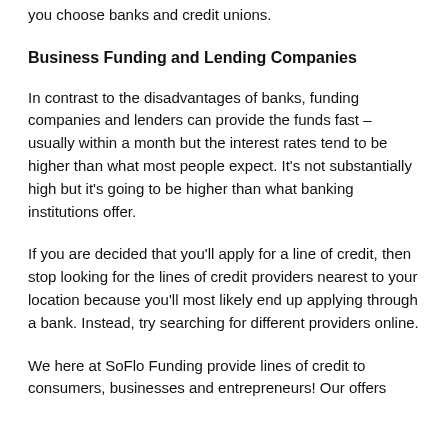you choose banks and credit unions.
Business Funding and Lending Companies
In contrast to the disadvantages of banks, funding companies and lenders can provide the funds fast – usually within a month but the interest rates tend to be higher than what most people expect. It's not substantially high but it's going to be higher than what banking institutions offer.
If you are decided that you'll apply for a line of credit, then stop looking for the lines of credit providers nearest to your location because you'll most likely end up applying through a bank. Instead, try searching for different providers online.
We here at SoFlo Funding provide lines of credit to consumers, businesses and entrepreneurs! Our offers